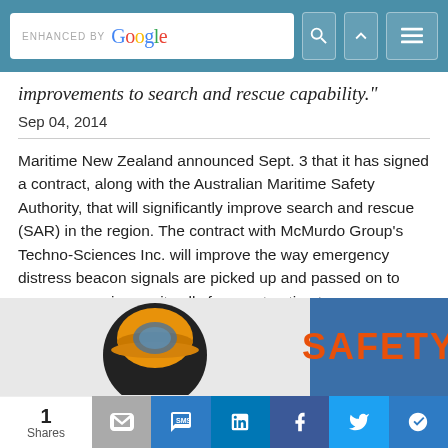[Figure (screenshot): Top browser search bar with 'ENHANCED BY Google' text and search/navigation icons on teal/blue background]
improvements to search and rescue capability."
Sep 04, 2014
Maritime New Zealand announced Sept. 3 that it has signed a contract, along with the Australian Maritime Safety Authority, that will significantly improve search and rescue (SAR) in the region. The contract with McMurdo Group's Techno-Sciences Inc. will improve the way emergency distress beacon signals are picked up and passed on to rescue agencies, as it calls for constructing two new satellite receiving stations and a new mission control center in Canberra to pick up signals from medium-Earth orbit search and rescue satellites.
These
[Figure (photo): Partial image showing a safety helmet logo and 'SAFETY' text on blue background]
[Figure (infographic): Social share bar showing 1 Share count and share icons for email, SMS, LinkedIn, Facebook, Twitter, and another platform]